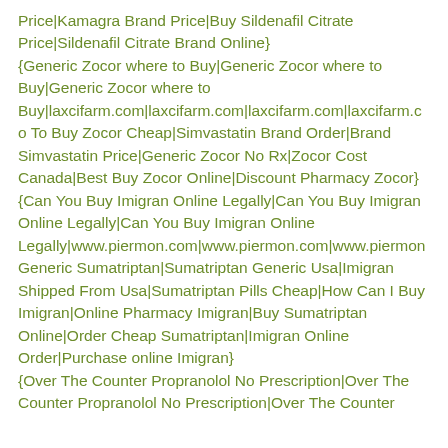Price|Kamagra Brand Price|Buy Sildenafil Citrate Price|Sildenafil Citrate Brand Online}
{Generic Zocor where to Buy|Generic Zocor where to Buy|Generic Zocor where to Buy|laxcifarm.com|laxcifarm.com|laxcifarm.com|laxcifarm.co To Buy Zocor Cheap|Simvastatin Brand Order|Brand Simvastatin Price|Generic Zocor No Rx|Zocor Cost Canada|Best Buy Zocor Online|Discount Pharmacy Zocor}
{Can You Buy Imigran Online Legally|Can You Buy Imigran Online Legally|Can You Buy Imigran Online Legally|www.piermon.com|www.piermon.com|www.piermon Generic Sumatriptan|Sumatriptan Generic Usa|Imigran Shipped From Usa|Sumatriptan Pills Cheap|How Can I Buy Imigran|Online Pharmacy Imigran|Buy Sumatriptan Online|Order Cheap Sumatriptan|Imigran Online Order|Purchase online Imigran}
{Over The Counter Propranolol No Prescription|Over The Counter Propranolol No Prescription|Over The Counter